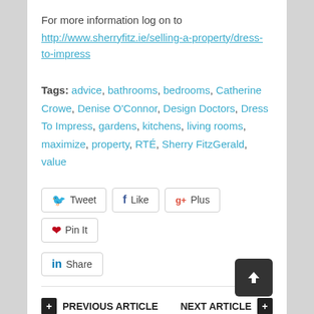For more information log on to http://www.sherryfitz.ie/selling-a-property/dress-to-impress
Tags: advice, bathrooms, bedrooms, Catherine Crowe, Denise O'Connor, Design Doctors, Dress To Impress, gardens, kitchens, living rooms, maximize, property, RTÉ, Sherry FitzGerald, value
[Figure (other): Social sharing buttons: Tweet, Like, Plus, Pin It, Share]
PREVIOUS ARTICLE | NEXT ARTICLE